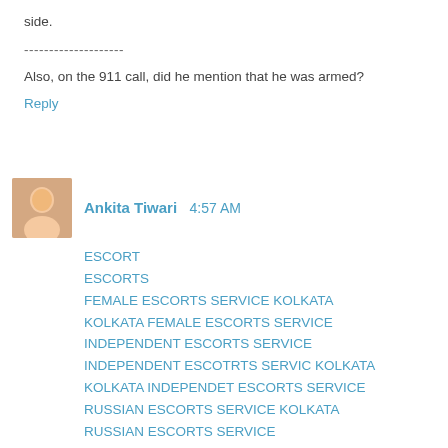side.
--------------------
Also, on the 911 call, did he mention that he was armed?
Reply
Ankita Tiwari  4:57 AM
ESCORT
ESCORTS
FEMALE ESCORTS SERVICE KOLKATA
KOLKATA FEMALE ESCORTS SERVICE
INDEPENDENT ESCORTS SERVICE
INDEPENDENT ESCOTRTS SERVIC KOLKATA
KOLKATA INDEPENDET ESCORTS SERVICE
RUSSIAN ESCORTS SERVICE KOLKATA
RUSSIAN ESCORTS SERVICE
KOLKATA RUSSIAN ESCORTS SERVICE
FOREIGN ESCORTS SERVICE IN KOLKATA
INDEPENDEN FOREIGN ESCORTS SERVICE
ESCORT FOREIGN SERVICE IN KOLKATA